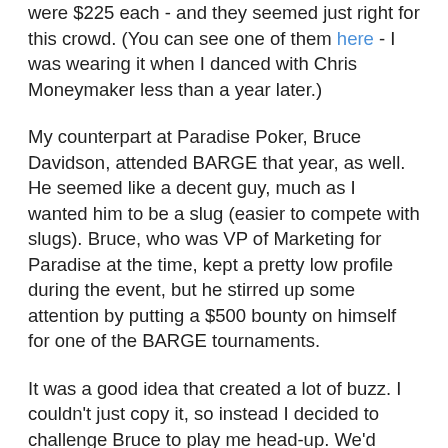were $225 each - and they seemed just right for this crowd. (You can see one of them here - I was wearing it when I danced with Chris Moneymaker less than a year later.)
My counterpart at Paradise Poker, Bruce Davidson, attended BARGE that year, as well. He seemed like a decent guy, much as I wanted him to be a slug (easier to compete with slugs). Bruce, who was VP of Marketing for Paradise at the time, kept a pretty low profile during the event, but he stirred up some attention by putting a $500 bounty on himself for one of the BARGE tournaments.
It was a good idea that created a lot of buzz. I couldn't just copy it, so instead I decided to challenge Bruce to play me head-up. We'd each put up $500, and the winner got to designate the charity that would receive the combined $1,000 prize pool.
The match got a lot of attention, as well. In fact, a sort of pari-mutuel pool developed, and when we sat down to play we had an audience of about 30 people. We had fun, and after struggling early, I won. I might be competing against